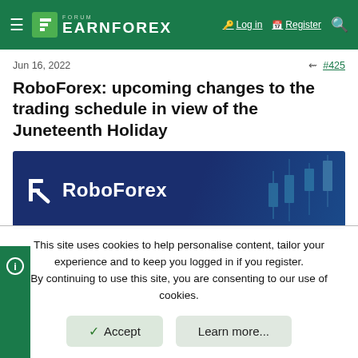FORUM EARNFOREX — Log in | Register
Jun 16, 2022  #425
RoboForex: upcoming changes to the trading schedule in view of the Juneteenth Holiday
[Figure (logo): RoboForex banner with white logo icon and RoboForex text on dark navy blue background with candlestick chart overlay]
Dear Clients and Partners,
This site uses cookies to help personalise content, tailor your experience and to keep you logged in if you register. By continuing to use this site, you are consenting to our use of cookies.